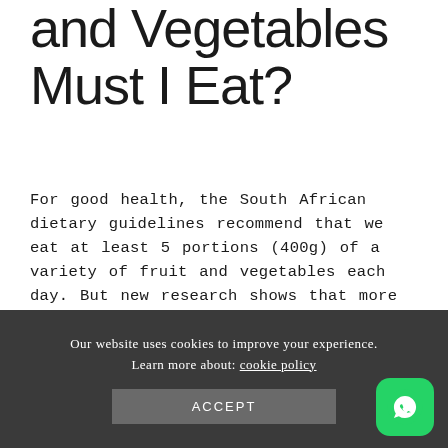and Vegetables Must I Eat?
For good health, the South African dietary guidelines recommend that we eat at least 5 portions (400g) of a variety of fruit and vegetables each day. But new research shows that more is even better. According to a large global study⁸ on over 2 million participants, eating up to 7½ servings of fruits and veggies per day (600g) lowers the risk of dying from cancer by 13%.  What does one serving of vegetables (80g) look like?
Our website uses cookies to improve your experience. Learn more about: cookie policy  ACCEPT